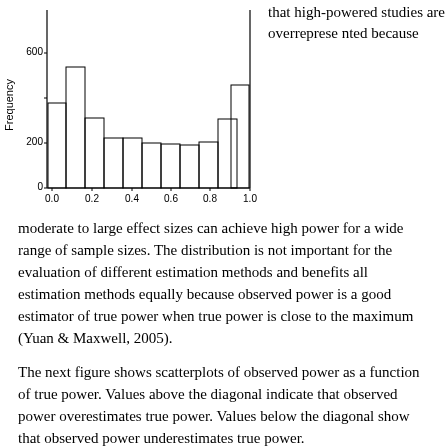[Figure (histogram): ]
that high-powered studies are overrepresented because
moderate to large effect sizes can achieve high power for a wide range of sample sizes. The distribution is not important for the evaluation of different estimation methods and benefits all estimation methods equally because observed power is a good estimator of true power when true power is close to the maximum (Yuan & Maxwell, 2005).
The next figure shows scatterplots of observed power as a function of true power. Values above the diagonal indicate that observed power overestimates true power. Values below the diagonal show that observed power underestimates true power.